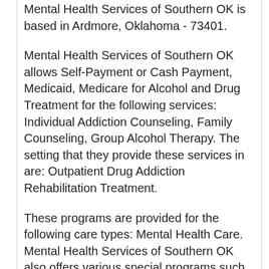Mental Health Services of Southern OK is based in Ardmore, Oklahoma - 73401.
Mental Health Services of Southern OK allows Self-Payment or Cash Payment, Medicaid, Medicare for Alcohol and Drug Treatment for the following services: Individual Addiction Counseling, Family Counseling, Group Alcohol Therapy. The setting that they provide these services in are: Outpatient Drug Addiction Rehabilitation Treatment.
These programs are provided for the following care types: Mental Health Care. Mental Health Services of Southern OK also offers various special programs such as: Addiction Treatment for Persons with Co-